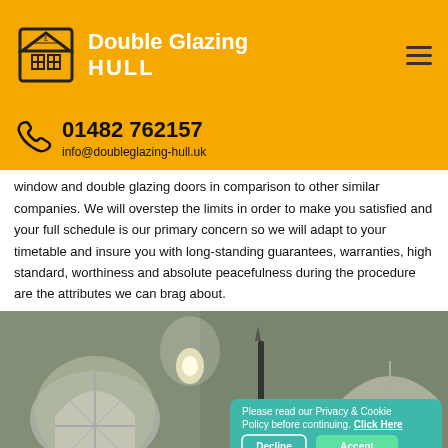Double Glazing HULL
01482 762157
info@doubleglazing-hull.uk
window and double glazing doors in comparison to other similar companies. We will overstep the limits in order to make you satisfied and your full schedule is our primary concern so we will adapt to your timetable and insure you with long-standing guarantees, warranties, high standard, worthiness and absolute peacefulness during the procedure are the attributes we can brag about.
[Figure (photo): Photo of a house exterior showing arched windows illuminated by wall lights at night, with a cookie consent banner overlay in teal showing 'Please read our Privacy & Cookie Policy before continuing. Click Here' with Decline and Accept buttons.]